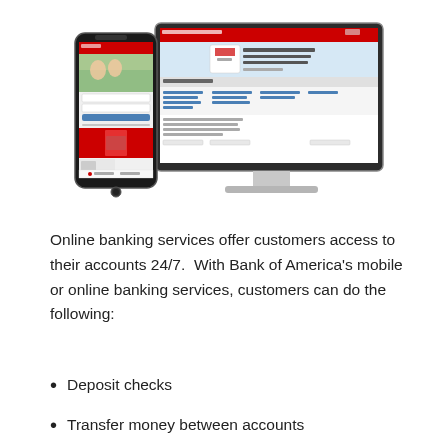[Figure (screenshot): A smartphone and a desktop iMac computer displaying Bank of America's mobile app and online banking website, showing account management interface with red header and banking options.]
Online banking services offer customers access to their accounts 24/7.  With Bank of America's mobile or online banking services, customers can do the following:
Deposit checks
Transfer money between accounts